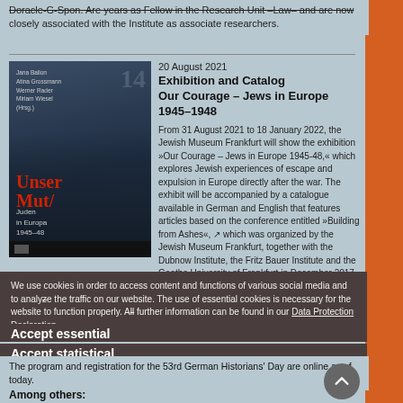Doracle-G-Spon. Are years as Fellow in the Research Unit –Law– and are now closely associated with the Institute as associate researchers.
[Figure (photo): Book cover of 'Unser Mut / Juden in Europa 1945-48' showing black and white photograph of Jewish people, with red title text overlay and contributor names at top]
20 August 2021
Exhibition and Catalog
Our Courage – Jews in Europe 1945–1948
From 31 August 2021 to 18 January 2022, the Jewish Museum Frankfurt will show the exhibition »Our Courage – Jews in Europe 1945-48,« which explores Jewish experiences of escape and expulsion in Europe directly after the war. The exhibit will be accompanied by a catalogue available in German and English that features articles based on the conference entitled »Building from Ashes«, ↗ which was organized by the Jewish Museum Frankfurt, together with the Dubnow Institute, the Fritz Bauer Institute and the Goethe University of Frankfurt in December 2017. Dr. Elishath Gallas ↗ and
We use cookies in order to access content and functions of various social media and to analyze the traffic on our website. The use of essential cookies is necessary for the website to function properly. All further information can be found in our Data Protection Declaration.
Accept essential
Accept statistical
Accept all
The program and registration for the 53rd German Historians' Day are online as of today.
Among others: